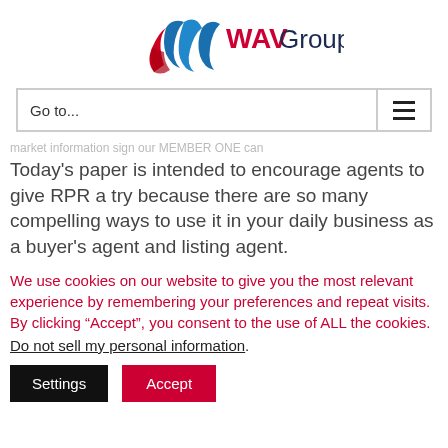[Figure (logo): WAV Group logo with stylized blue and red ribbon W shape and 'WAVGroup' text in dark blue and red]
Go to...
market information sign our MEMBER ONE can
Today's paper is intended to encourage agents to give RPR a try because there are so many compelling ways to use it in your daily business as a buyer's agent and listing agent.
We use cookies on our website to give you the most relevant experience by remembering your preferences and repeat visits. By clicking “Accept”, you consent to the use of ALL the cookies.
Do not sell my personal information.
Settings
Accept